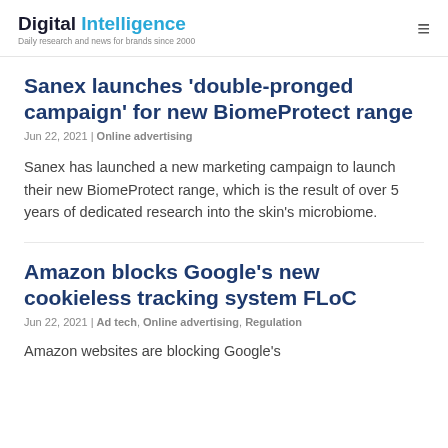Digital Intelligence
Daily research and news for brands since 2000
Sanex launches 'double-pronged campaign' for new BiomeProtect range
Jun 22, 2021 | Online advertising
Sanex has launched a new marketing campaign to launch their new BiomeProtect range, which is the result of over 5 years of dedicated research into the skin's microbiome.
Amazon blocks Google's new cookieless tracking system FLoC
Jun 22, 2021 | Ad tech, Online advertising, Regulation
Amazon websites are blocking Google's